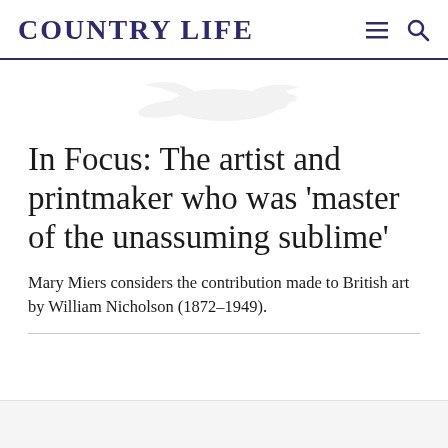COUNTRY LIFE
[Figure (illustration): Faint light gray silhouette of a bird (pheasant or similar game bird) in flight, used as a decorative watermark/logo element below the header]
In Focus: The artist and printmaker who was 'master of the unassuming sublime'
Mary Miers considers the contribution made to British art by William Nicholson (1872–1949).